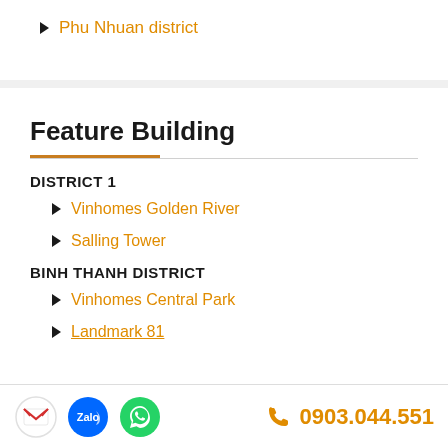Phu Nhuan district
Feature Building
DISTRICT 1
Vinhomes Golden River
Salling Tower
BINH THANH DISTRICT
Vinhomes Central Park
Landmark 81
0903.044.551